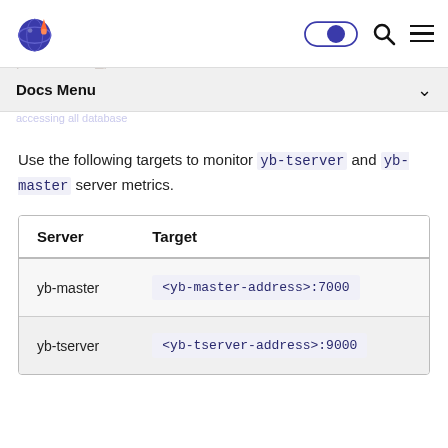YugabyteDB documentation site header with logo, dark mode toggle, search, and menu
Use the following targets to monitor yb-tserver and yb-master server metrics.
| Server | Target |
| --- | --- |
| yb-master | <yb-master-address>:7000 |
| yb-tserver | <yb-tserver-address>:9000 |